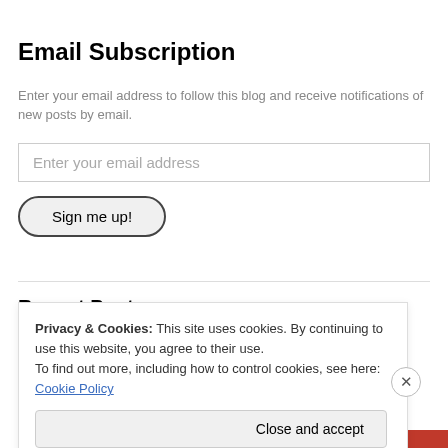Email Subscription
Enter your email address to follow this blog and receive notifications of new posts by email.
[Figure (screenshot): Email input field with placeholder text 'Enter your email address']
[Figure (screenshot): Sign me up! button with rounded border]
Recent Posts
[47] Chemistry 102 – Introductory University Chemistry II
Privacy & Cookies: This site uses cookies. By continuing to use this website, you agree to their use.
To find out more, including how to control cookies, see here: Cookie Policy
Close and accept